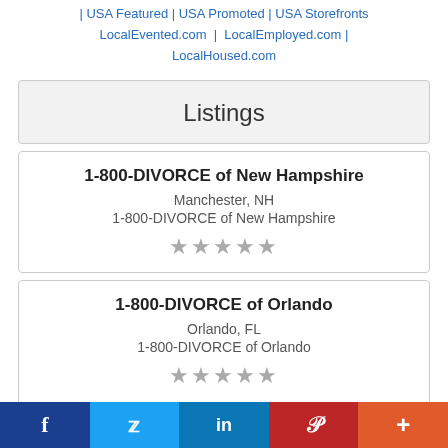| USA Featured | USA Promoted | USA Storefronts LocalEvented.com | LocalEmployed.com | LocalHoused.com
Listings
1-800-DIVORCE of New Hampshire
Manchester, NH
1-800-DIVORCE of New Hampshire
★★★★★
1-800-DIVORCE of Orlando
Orlando, FL
1-800-DIVORCE of Orlando
★★★★★